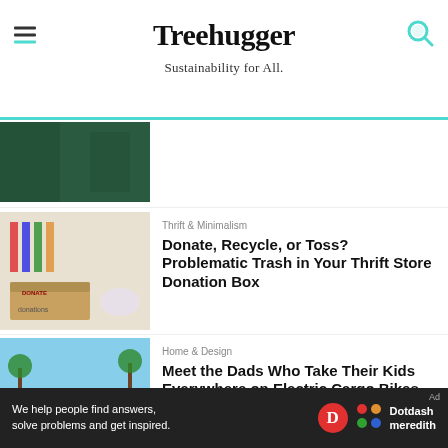Treehugger – Sustainability for All.
[Figure (screenshot): Partially cropped article thumbnail showing dark green background]
Thrift & Minimalism
Donate, Recycle, or Toss? Problematic Trash in Your Thrift Store Donation Box
[Figure (photo): Donation boxes with clothes and items labeled 'donations']
Home & Design
Meet the Dads Who Take Their Kids Everywhere on Electric Cargo Bikes
[Figure (photo): Two people with an electric cargo bike in a park setting]
Current Events
[Figure (photo): Partial thumbnail with teal/blue background]
We help people find answers, solve problems and get inspired.
[Figure (logo): Dotdash Meredith logo with red D circle and colorful dots icon]